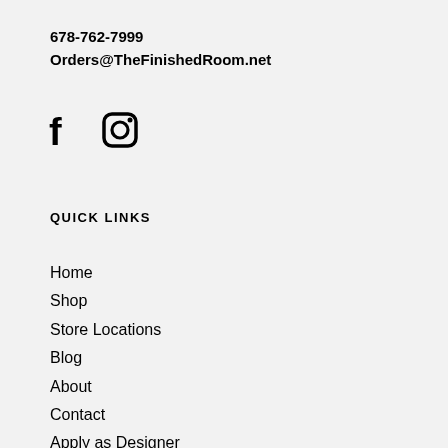678-762-7999
Orders@TheFinishedRoom.net
[Figure (logo): Facebook and Instagram social media icons]
QUICK LINKS
Home
Shop
Store Locations
Blog
About
Contact
Apply as Designer
Meet The Designers